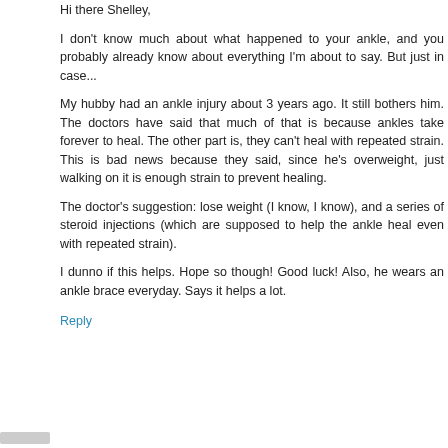Hi there Shelley,
I don't know much about what happened to your ankle, and you probably already know about everything I'm about to say. But just in case...
My hubby had an ankle injury about 3 years ago. It still bothers him. The doctors have said that much of that is because ankles take forever to heal. The other part is, they can't heal with repeated strain. This is bad news because they said, since he's overweight, just walking on it is enough strain to prevent healing.
The doctor's suggestion: lose weight (I know, I know), and a series of steroid injections (which are supposed to help the ankle heal even with repeated strain).
I dunno if this helps. Hope so though! Good luck! Also, he wears an ankle brace everyday. Says it helps a lot.
Reply